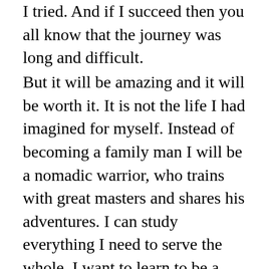I tried. And if I succeed then you all know that the journey was long and difficult.
But it will be amazing and it will be worth it. It is not the life I had imagined for myself. Instead of becoming a family man I will be a nomadic warrior, who trains with great masters and shares his adventures. I can study everything I need to serve the whole. I want to learn to be a good speaker and a better facilitator, I want to mature as a healer, awaken the kundalini energy and study leadership and warriorship. That is what I see for myself now. I am both